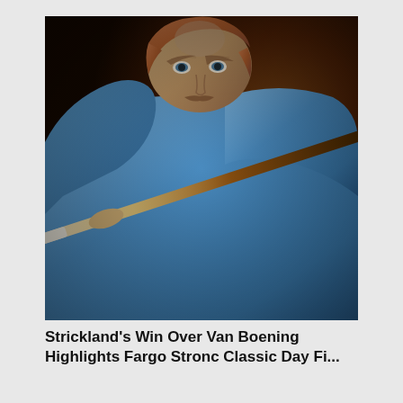[Figure (photo): A man in a blue sweatshirt leaning over a pool/billiards table, intensely focused, holding a cue stick diagonally across the frame. He has short reddish-gray hair and a mustache. The background is blurred with warm orange and dark tones.]
Strickland's Win Over Van Boening Highlights Fargo Stronc Classic Day Fi...